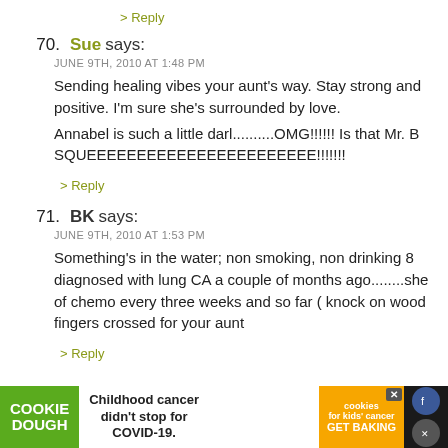> Reply
70. Sue says:
JUNE 9TH, 2010 AT 1:48 PM
Sending healing vibes your aunt's way. Stay strong and positive. I'm sure she's surrounded by love.
Annabel is such a little darl..........OMG!!!!!! Is that Mr. B SQUEEEEEEEEEEEEEEEEEEEEEEE!!!!!!!
> Reply
71. BK says:
JUNE 9TH, 2010 AT 1:53 PM
Something's in the water; non smoking, non drinking 82 diagnosed with lung CA a couple of months ago........she of chemo every three weeks and so far ( knock on wood fingers crossed for your aunt
> Reply
[Figure (screenshot): Cookie Dough advertisement banner: green 'COOKIE DOUGH' logo on left, white center text 'Childhood cancer didn't stop for COVID-19.', orange 'cookies for kids cancer GET BAKING' section on right, with close/social icons on far right.]